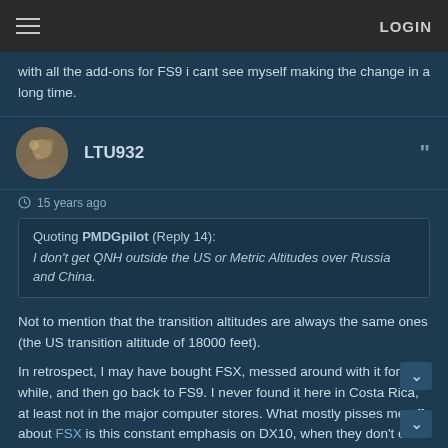≡  LOGIN
with all the add-ons for FS9 i cant see myself making the change in a long time.
LTU932
15 years ago
Quoting PMDGpilot (Reply 14): I don't get QNH outside the US or Metric Altitudes over Russia and China.
Not to mention that the transition altitudes are always the same ones (the US transition altitude of 18000 feet).
In retrospect, I may have bought FSX, messed around with it for a while, and then go back to FS9. I never found it here in Costa Rica, at least not in the major computer stores. What mostly pisses me off about FSX is this constant emphasis on DX10, when they don't even release a version with DX10 or even a version where you can switch from DX9 to DX10, etc. For now, I'm sticking with FS9. It's just the better sim.